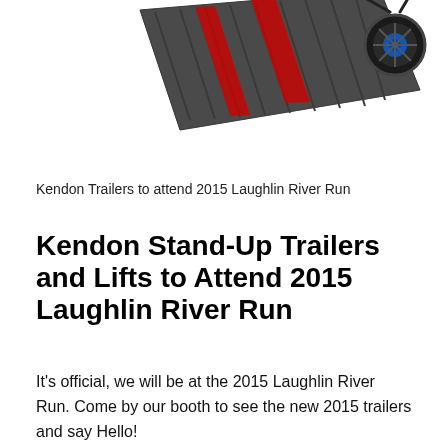[Figure (photo): Partial view of a Kendon stand-up trailer/lift, showing the folded ramp and wheel components, photographed from above against a white background.]
Kendon Trailers to attend 2015 Laughlin River Run
Kendon Stand-Up Trailers and Lifts to Attend 2015 Laughlin River Run
It's official, we will be at the 2015 Laughlin River Run. Come by our booth to see the new 2015 trailers and say Hello!